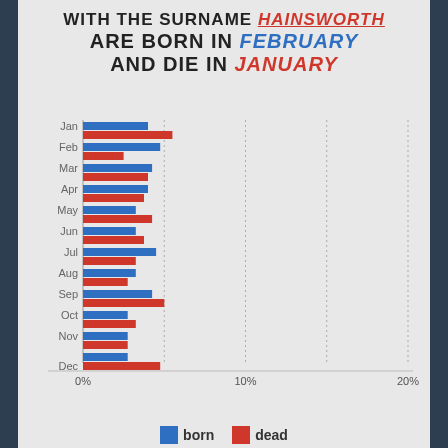WITH THE SURNAME HAINSWORTH ARE BORN IN FEBRUARY AND DIE IN JANUARY
[Figure (grouped-bar-chart): Birth and death months for people with surname Hainsworth]
born  dead